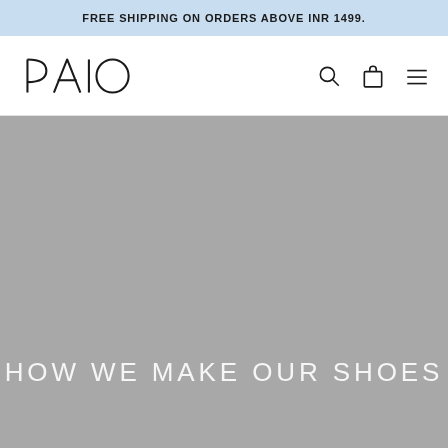FREE SHIPPING ON ORDERS ABOVE INR 1499.
[Figure (logo): PAIO brand logo in stylized geometric letterforms]
[Figure (photo): Large grey hero image background for 'HOW WE MAKE OUR SHOES' section]
HOW WE MAKE OUR SHOES